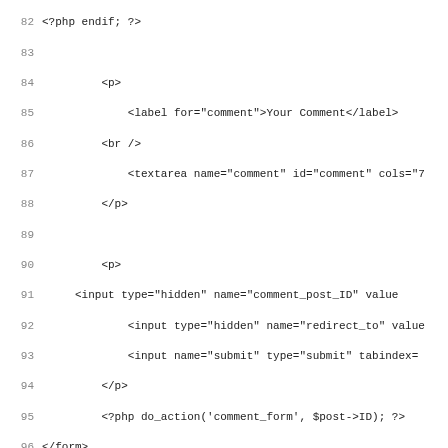Code listing lines 82-114 showing PHP/HTML template code
82  <?php endif; ?>
83  (blank)
84       <p>
85           <label for="comment">Your Comment</label>
86       <br />
87           <textarea name="comment" id="comment" cols="7
88       </p>
89  (blank)
90       <p>
91   <input type="hidden" name="comment_post_ID" value
92           <input type="hidden" name="redirect_to" value
93           <input name="submit" type="submit" tabindex=
94       </p>
95       <?php do_action('comment_form', $post->ID); ?>
96 </form>
97 <?php } else { // comments are closed ?>
98 <p>Sorry, the comment form is closed at this time.</p>
99 <?php }
100 } // end password check
101 ?>
102 (blank)
103 <div><strong><a href="javascript:window.close()">Close
104 (blank)
105 <?php // if you delete this the sky will fall on your h
106 endwhile; //endwhile have_posts()
107 else: //have_posts()
108 ?>
109 <p>Sorry, no posts matched your criteria.</p>
110 <?php endif; ?>
111 <!-- // this is just the end of the motor - don't touch
112 <?php //} ?>
113 <p class="credit"><?php timer_stop(1); ?> <cite>Powered
114 <?php // Seen at http://www.miinkonthee.nl/log2/archive